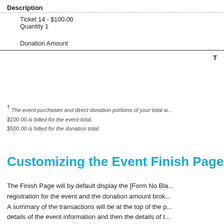| Description |  |
| --- | --- |
| Ticket 14 - $100.00
Quantity 1 |  |
| Donation Amount |  |
|  | T |
† The event purchases and direct donation portions of your total w... $100.00 is billed for the event total. $500.00 is billed for the donation total.
Customizing the Event Finish Page
The Finish Page will by default display the [Form No Bla... registration for the event and the donation amount brok... A summary of the transactions will be at the top of the p... details of the event information and then the details of t... The details of the event information and the details of th... will appear on the finish page in the order they appear o...